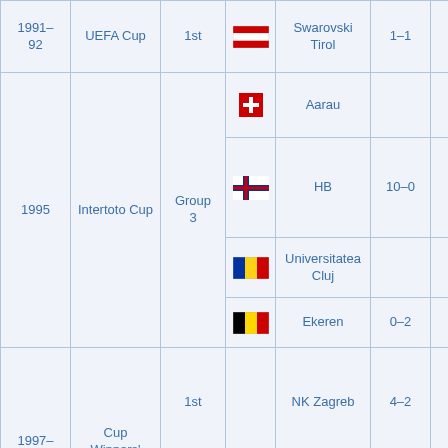| Season | Competition | Round | Flag | Opponent | Agg. | ... |
| --- | --- | --- | --- | --- | --- | --- |
| 1991–92 | UEFA Cup | 1st | Austria | Swarovski Tirol | 1–1 | 1 |
| 1995 | Intertoto Cup | Group 3 | Switzerland | Aarau |  | 2 |
| 1995 | Intertoto Cup | Group 3 | Faroe Islands | HB | 10–0 |  |
| 1995 | Intertoto Cup | Group 3 | Romania | Universitatea Cluj |  | 1 |
| 1995 | Intertoto Cup | Group 3 | Belgium | Ekeren | 0–2 |  |
| 1997–98 | Cup Winners' Cup | 1st |  | NK Zagreb | 4–2 | 2 |
| 1997–98 | Cup Winners' Cup | 2nd | England | Chelsea | 3–2 | 1 |
|  |  | 2nd Q | Denmark | Esbjerg | 0–1 | 1 |